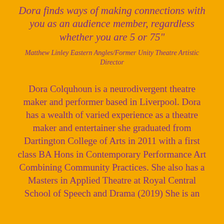Dora finds ways of making connections with you as an audience member, regardless whether you are 5 or 75"
Matthew Linley Eastern Angles/Former Unity Theatre Artistic Director
Dora Colquhoun is a neurodivergent theatre maker and performer based in Liverpool. Dora has a wealth of varied experience as a theatre maker and entertainer she graduated from Dartington College of Arts in 2011 with a first class BA Hons in Contemporary Performance Art Combining Community Practices. She also has a Masters in Applied Theatre at Royal Central School of Speech and Drama (2019) She is an